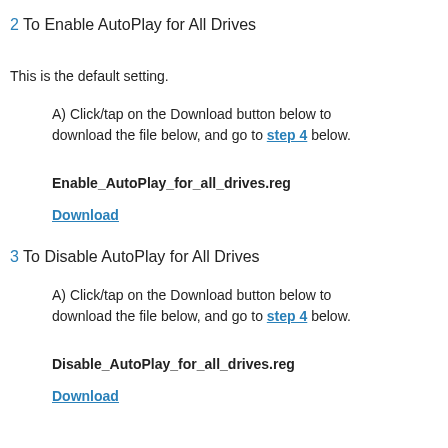2 To Enable AutoPlay for All Drives
This is the default setting.
A) Click/tap on the Download button below to download the file below, and go to step 4 below.
Enable_AutoPlay_for_all_drives.reg
Download
3 To Disable AutoPlay for All Drives
A) Click/tap on the Download button below to download the file below, and go to step 4 below.
Disable_AutoPlay_for_all_drives.reg
Download